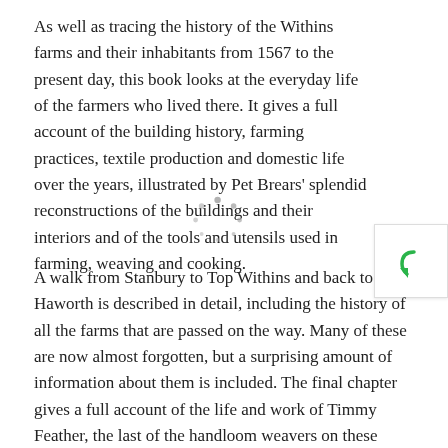As well as tracing the history of the Withins farms and their inhabitants from 1567 to the present day, this book looks at the everyday life of the farmers who lived there. It gives a full account of the building history, farming practices, textile production and domestic life over the years, illustrated by Pet Brears' splendid reconstructions of the buildings and their interiors and of the tools and utensils used in farming, weaving and cooking.
A walk from Stanbury to Top Withins and back to Haworth is described in detail, including the history of all the farms that are passed on the way. Many of these are now almost forgotten, but a surprising amount of information about them is included. The final chapter gives a full account of the life and work of Timmy Feather, the last of the handloom weavers on these moors.